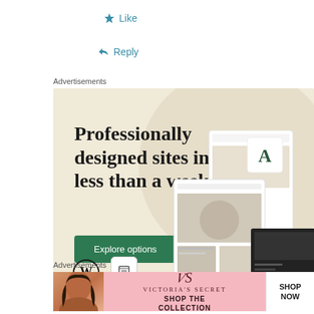★ Like
↩ Reply
Advertisements
[Figure (illustration): WordPress advertisement banner with beige background. Large serif text reads 'Professionally designed sites in less than a week'. Green 'Explore options' button. WordPress logo at bottom left. Website mockup screenshots on right side.]
[Figure (other): Close/dismiss button (X circle) at bottom right of WordPress ad]
Advertisements
[Figure (illustration): Victoria's Secret advertisement banner with pink gradient background. Shows model on left, VS logo in center with text 'SHOP THE COLLECTION', and 'SHOP NOW' button on right.]